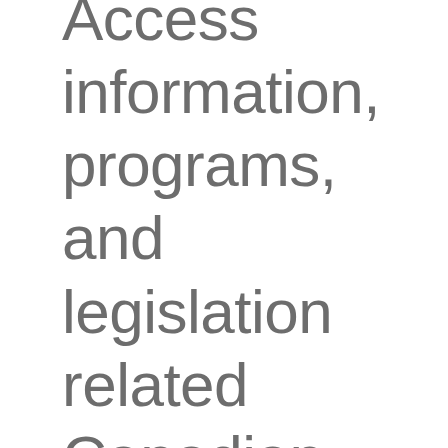Access information, programs, and legislation related Canadian labour law, occupational health and safety, federal workers'